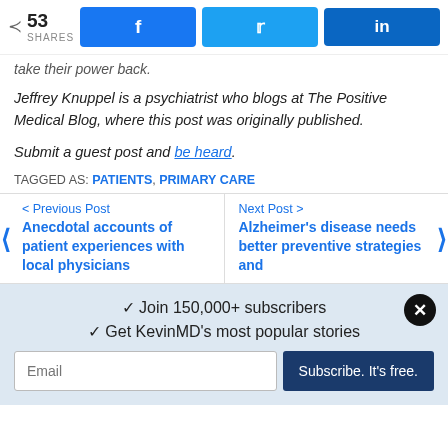[Figure (other): Share bar with share count (53 SHARES) and social media buttons: Facebook (f), Twitter (bird icon), LinkedIn (in)]
take their power back.
Jeffrey Knuppel is a psychiatrist who blogs at The Positive Medical Blog, where this post was originally published.
Submit a guest post and be heard.
TAGGED AS: PATIENTS, PRIMARY CARE
< Previous Post
Anecdotal accounts of patient experiences with local physicians
Next Post >
Alzheimer's disease needs better preventive strategies and
✓ Join 150,000+ subscribers
✓ Get KevinMD's most popular stories
Email | Subscribe. It's free.